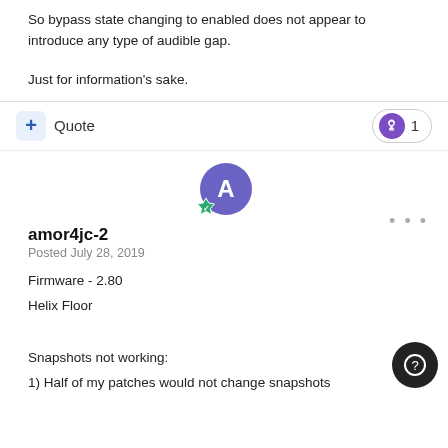So bypass state changing to enabled does not appear to introduce any type of audible gap.
Just for information's sake.
Quote
1
amor4jc-2
Posted July 28, 2019
Firmware - 2.80
Helix Floor

Snapshots not working:
1) Half of my patches would not change snapshots